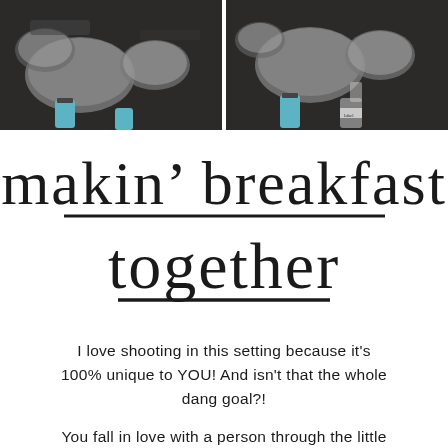[Figure (photo): Two side-by-side photos of cooking/camping gear including metal bowls, pans, and cans on a dark surface]
makin' breakfast together
I love shooting in this setting because it's 100% unique to YOU! And isn't that the whole dang goal?!
You fall in love with a person through the little details that make them unique. The way their